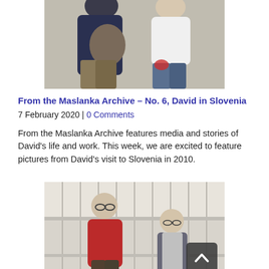[Figure (photo): Two people standing and talking outdoors near a stone wall, one in a dark jacket with a bag, other in a white top]
From the Maslanka Archive – No. 6, David in Slovenia
7 February 2020 | 0 Comments
From the Maslanka Archive features media and stories of David's life and work. This week, we are excited to feature pictures from David's visit to Slovenia in 2010.
[Figure (photo): Two men standing indoors near a building with vertical slats/panels, one in a red shirt, one in a vest; a dark back-to-top button visible in the corner]